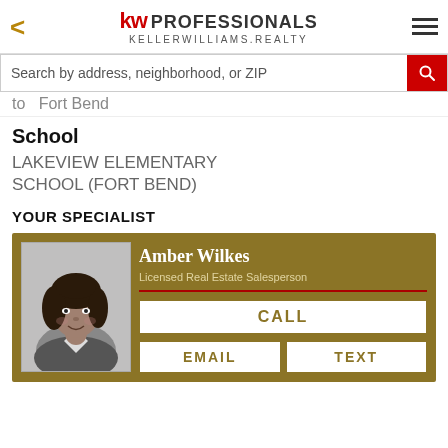kw PROFESSIONALS KELLERWILLIAMS.REALTY
Search by address, neighborhood, or ZIP
to   Fort Bend
School
LAKEVIEW ELEMENTARY SCHOOL (FORT BEND)
YOUR SPECIALIST
[Figure (photo): Headshot photo of Amber Wilkes, a real estate agent, grayscale portrait]
Amber Wilkes
Licensed Real Estate Salesperson
CALL
EMAIL
TEXT